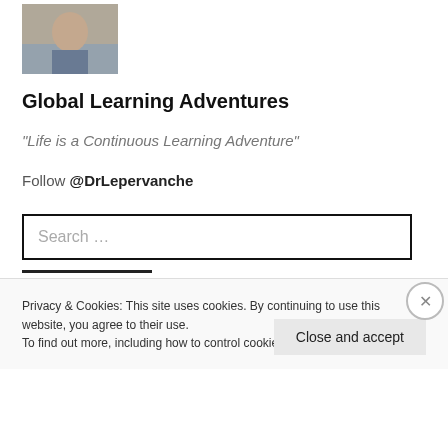[Figure (photo): Profile photo of a person outdoors near water]
Global Learning Adventures
“Life is a Continuous Learning Adventure”
Follow @DrLepervanche
Search …
Privacy & Cookies: This site uses cookies. By continuing to use this website, you agree to their use.
To find out more, including how to control cookies, see here: Cookie Policy
Close and accept